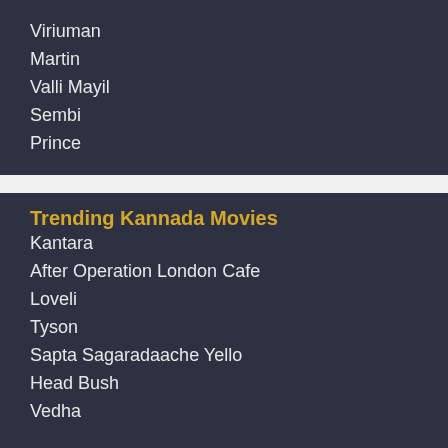Viriuman
Martin
Valli Mayil
Sembi
Prince
Trending Kannada Movies
Kantara
After Operation London Cafe
Loveli
Tyson
Sapta Sagaradaache Yello
Head Bush
Vedha